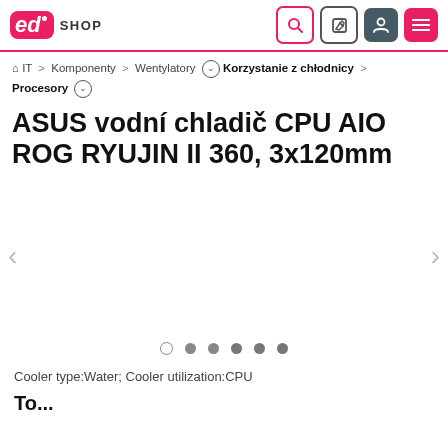ed SHOP — navigation header with search, edit, account, and menu icons
IT > Komponenty > Wentylatory > Korzystanie z chłodnicy > Procesory
ASUS vodní chladič CPU AIO ROG RYUJIN II 360, 3x120mm
[Figure (photo): Product image carousel area with left and right navigation arrows and pagination dots (6 dots, first one empty/outlined)]
Cooler type:Water; Cooler utilization:CPU
To...